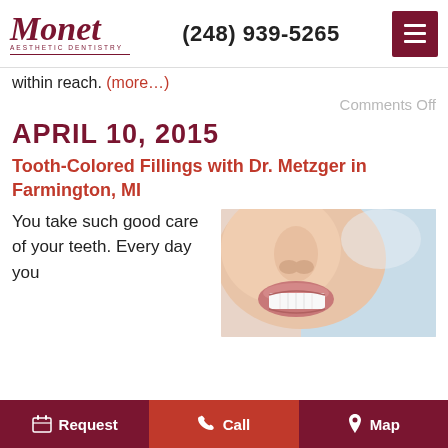Monet Aesthetic Dentistry — (248) 939-5265
within reach. (more...)
Comments Off
APRIL 10, 2015
Tooth-Colored Fillings with Dr. Metzger in Farmington, MI
You take such good care of your teeth. Every day you
[Figure (photo): Close-up photo of a smiling person showing white teeth]
Request   Call   Map